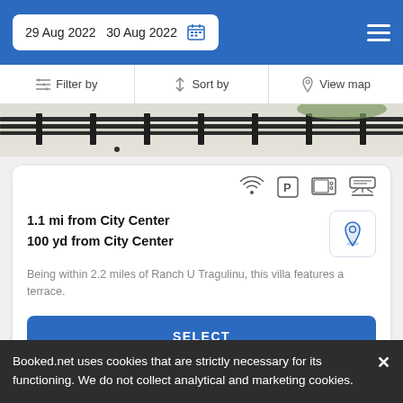29 Aug 2022  30 Aug 2022
Filter by   Sort by   View map
[Figure (photo): Photo of a fence/railing and wall, partially visible at top of listing card]
1.1 mi from City Center
100 yd from City Center
Being within 2.2 miles of Ranch U Tragulinu, this villa features a terrace.
SELECT
Booked.net uses cookies that are strictly necessary for its functioning. We do not collect analytical and marketing cookies.